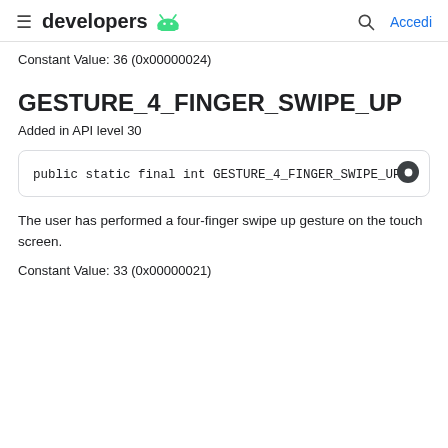developers | Accedi
Constant Value: 36 (0x00000024)
GESTURE_4_FINGER_SWIPE_UP
Added in API level 30
public static final int GESTURE_4_FINGER_SWIPE_UP
The user has performed a four-finger swipe up gesture on the touch screen.
Constant Value: 33 (0x00000021)